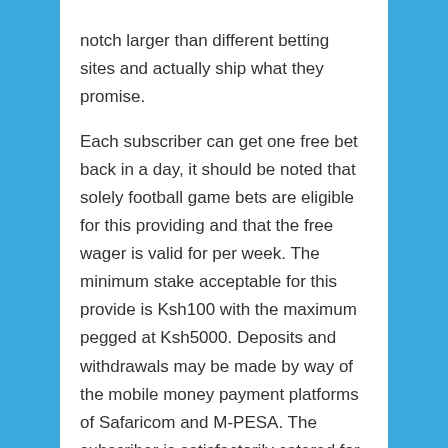notch larger than different betting sites and actually ship what they promise.

Each subscriber can get one free bet back in a day, it should be noted that solely football game bets are eligible for this providing and that the free wager is valid for per week. The minimum stake acceptable for this provide is Ksh100 with the maximum pegged at Ksh5000. Deposits and withdrawals may be made by way of the mobile money payment platforms of Safaricom and M-PESA. The subscriber is satisfactorily catered for by way of various customer care platforms. It is owned by Oxygen 8 East Africa Limited in collaboration with FSB Technology. It boasts an in depth market attain, aggressive odds, live betting, on-